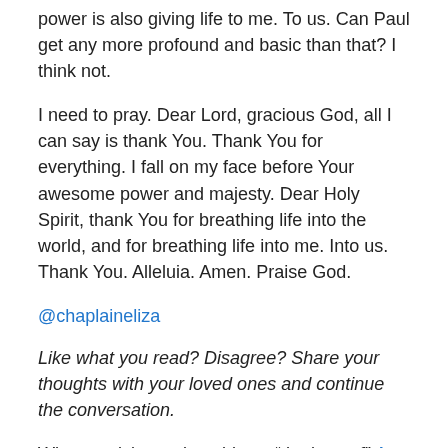power is also giving life to me. To us. Can Paul get any more profound and basic than that? I think not.
I need to pray. Dear Lord, gracious God, all I can say is thank You. Thank You for everything. I fall on my face before Your awesome power and majesty. Dear Holy Spirit, thank You for breathing life into the world, and for breathing life into me. Into us. Thank You. Alleluia. Amen. Praise God.
@chaplaineliza
Like what you read? Disagree? Share your thoughts with your loved ones and continue the conversation.
Why not visit my sister blogs, “the best of” A Year of Being Kind.    @chaplaineliza And read #40acts sermons from Pastor, Preacher Pray-er .